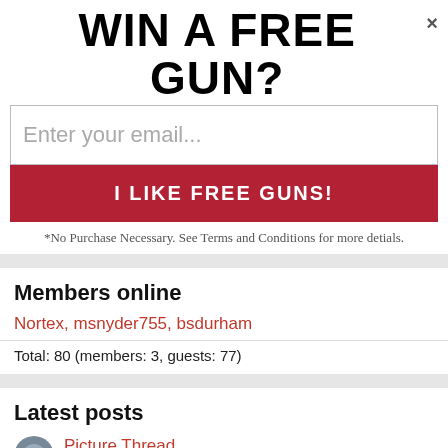WIN A FREE GUN?×
[Figure (screenshot): Email input field with placeholder text 'Enter your email...']
I LIKE FREE GUNS!
*No Purchase Necessary. See Terms and Conditions for more detials.
Members online
Nortex, msnyder755, bsdurham
Total: 80 (members: 3, guests: 77)
Latest posts
Picture Thread
Latest: Oldgrunt · 58 minutes ago
Politics and News
Top Conservative Sites for Accurate News